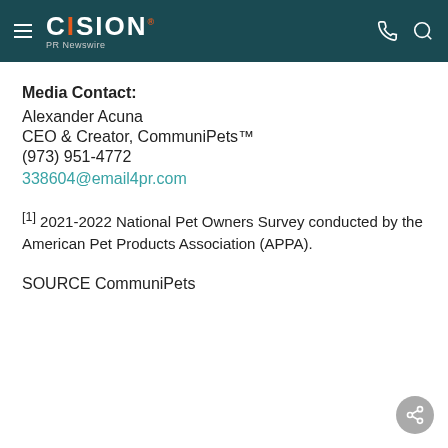CISION PR Newswire
Media Contact:
Alexander Acuna
CEO & Creator, CommuniPets™
(973) 951-4772
338604@email4pr.com
[1] 2021-2022 National Pet Owners Survey conducted by the American Pet Products Association (APPA).
SOURCE CommuniPets